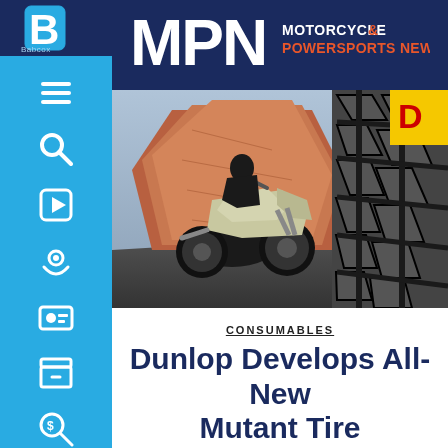[Figure (logo): Babcox logo in white on dark navy background in sidebar]
[Figure (logo): MPN Motorcycle & Powersports News logo in white and red text on dark navy header bar]
[Figure (photo): A motorcycle rider on a sport-touring motorcycle riding past red rock formations, with a close-up of a Dunlop tire tread pattern on the right side. Dunlop yellow logo badge visible top right.]
CONSUMABLES
Dunlop Develops All-New Mutant Tire